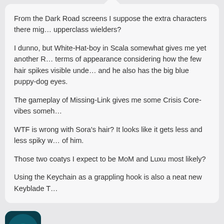From the Dark Road screens I suppose the extra characters there might be upperclass wielders?

I dunno, but White-Hat-boy in Scala somewhat gives me yet another R in terms of appearance considering how the few hair spikes visible unde... and he also has the big blue puppy-dog eyes.

The gameplay of Missing-Link gives me some Crisis Core-vibes someh...

WTF is wrong with Sora's hair? It looks like it gets less and less spiky w... of him.

Those two coatys I expect to be MoM and Luxu most likely?

Using the Keychain as a grappling hook is also a neat new Keyblade T...
[Figure (illustration): User avatar icon showing a teal/cyan colored creature or dragon silhouette on a dark teal background]
HakaishinChampa
April 10, 2022